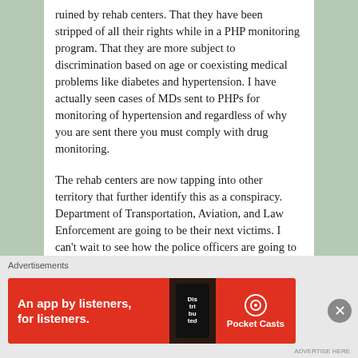ruined by rehab centers. That they have been stripped of all their rights while in a PHP monitoring program. That they are more subject to discrimination based on age or coexisting medical problems like diabetes and hypertension. I have actually seen cases of MDs sent to PHPs for monitoring of hypertension and regardless of why you are sent there you must comply with drug monitoring.
The rehab centers are now tapping into other territory that further identify this as a conspiracy. Department of Transportation, Aviation, and Law Enforcement are going to be their next victims. I can't wait to see how the police officers are going to respond to this nonsense.
This was an eye opening experience. There is no profession that is worth going through this amount of humility. PHP's will likely remain above the law, continue to have no accountability and oversight, which is a travesty of justice. I
Advertisements
[Figure (other): Red advertisement banner for Pocket Casts app with text 'An app by listeners, for listeners.' and phone image]